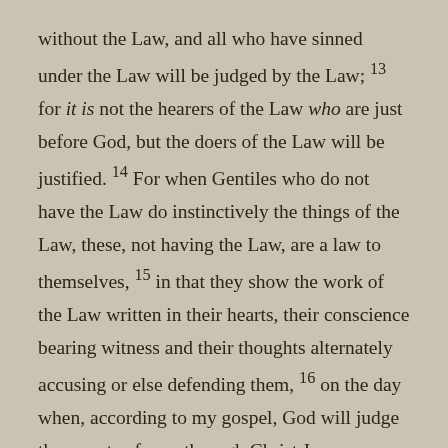without the Law, and all who have sinned under the Law will be judged by the Law; 13 for it is not the hearers of the Law who are just before God, but the doers of the Law will be justified. 14 For when Gentiles who do not have the Law do instinctively the things of the Law, these, not having the Law, are a law to themselves, 15 in that they show the work of the Law written in their hearts, their conscience bearing witness and their thoughts alternately accusing or else defending them, 16 on the day when, according to my gospel, God will judge the secrets of men through Christ Jesus.
I write these decrees in the Name of Jesus Christ and in His authority and through His power. The Angelic